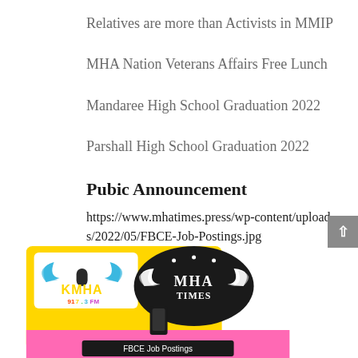Relatives are more than Activists in MMIP
MHA Nation Veterans Affairs Free Lunch
Mandaree High School Graduation 2022
Parshall High School Graduation 2022
Pubic Announcement
https://www.mhatimes.press/wp-content/uploads/2022/05/FBCE-Job-Postings.jpg
[Figure (photo): KMHA radio and MHA Times logos with FBCE Job Postings banner on a yellow and pink background]